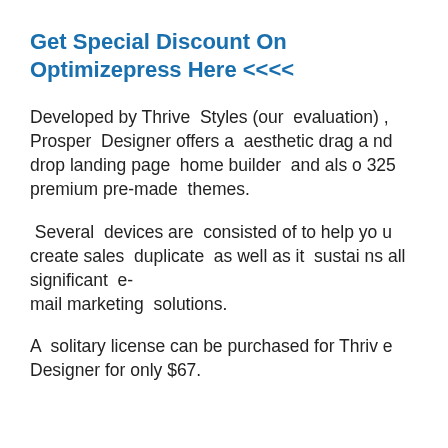Get Special Discount On Optimizepress Here <<<<
Developed by Thrive Styles (our evaluation), Prosper Designer offers a aesthetic drag and drop landing page home builder and also 325 premium pre-made themes.
Several devices are consisted of to help you create sales duplicate as well as it sustains all significant e-mail marketing solutions.
A solitary license can be purchased for Thrive Designer for only $67.